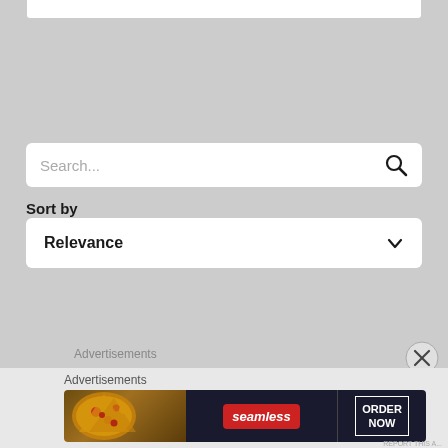[Figure (screenshot): Top portion of a white content box cut off at the top of the page]
[Figure (screenshot): Search input field with placeholder text 'Search...' and a magnifying glass icon on the right]
Sort by
[Figure (screenshot): Dropdown select box showing 'Relevance' with a chevron/caret down arrow]
Advertisements
Advertisements
[Figure (screenshot): Seamless food ordering advertisement banner showing pizza image on left, Seamless logo in center on dark background, and 'ORDER NOW' button on right]